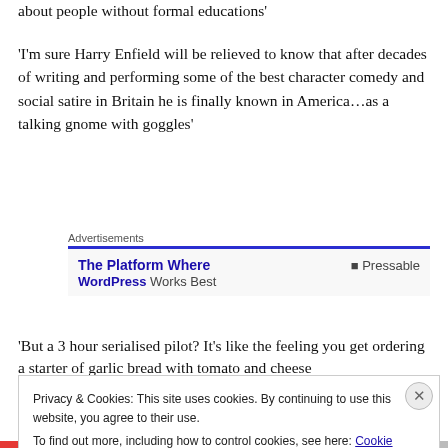about people without formal educations'
'I'm sure Harry Enfield will be relieved to know that after decades of writing and performing some of the best character comedy and social satire in Britain he is finally known in America…as a talking gnome with goggles'
[Figure (screenshot): Advertisements banner: 'The Platform Where WordPress Works Best' with Pressable logo on the right]
'But a 3 hour serialised pilot? It's like the feeling you get ordering a starter of garlic bread with tomato and cheese
Privacy & Cookies: This site uses cookies. By continuing to use this website, you agree to their use.
To find out more, including how to control cookies, see here: Cookie Policy
Close and accept